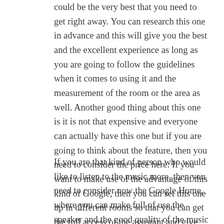could be the very best that you need to get right away. You can research this one in advance and this will give you the best and the excellent experience as long as you are going to follow the guidelines when it comes to using it and the measurement of the room or the area as well. Another good thing about this one is it is not that expensive and everyone can actually have this one but if you are going to think about the feature, then you need to consider the price here. If you want to make use of the advantage of this kind of Google, then you can set this one up in different rooms so that you can get the full access of the assistant and give everything that you have now.
If you are that kind of person who would like to listen to the music more, then you need to consider now the Google Home, where you can make full of use the speaker and the good quality of the music and sound. The main difference between the Google Home and the mini version is with the speaker and